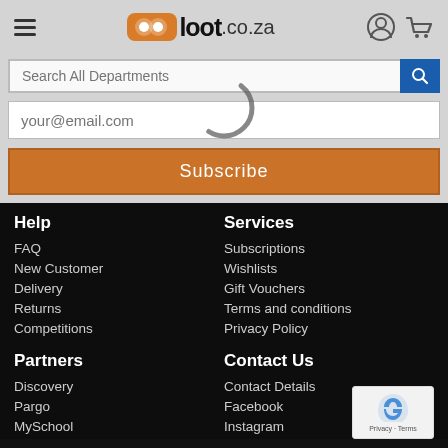loot.co.za — navigation header with hamburger menu, logo, account icon, and cart icon
Search All Departments
your@email.com
Subscribe
Help
Services
FAQ
Subscriptions
New Customer
Wishlists
Delivery
Gift Vouchers
Returns
Terms and conditions
Competitions
Privacy Policy
Partners
Contact Us
Discovery
Contact Details
Pargo
Facebook
MySchool
Instagram